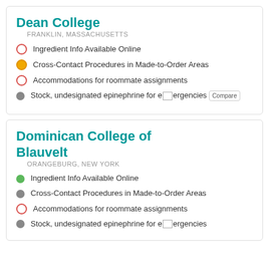Dean College
FRANKLIN, MASSACHUSETTS
Ingredient Info Available Online
Cross-Contact Procedures in Made-to-Order Areas
Accommodations for roommate assignments
Stock, undesignated epinephrine for emergencies
Dominican College of Blauvelt
ORANGEBURG, NEW YORK
Ingredient Info Available Online
Cross-Contact Procedures in Made-to-Order Areas
Accommodations for roommate assignments
Stock, undesignated epinephrine for emergencies